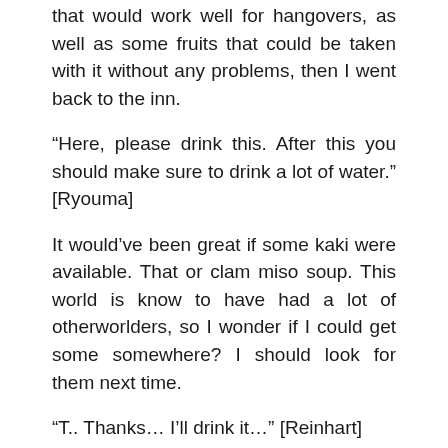that would work well for hangovers, as well as some fruits that could be taken with it without any problems, then I went back to the inn.
“Here, please drink this. After this you should make sure to drink a lot of water.” [Ryouma]
It would’ve been great if some kaki were available. That or clam miso soup. This world is know to have had a lot of otherworlders, so I wonder if I could get some somewhere? I should look for them next time.
“T.. Thanks… I’ll drink it…” [Reinhart]
“It would be best if you avoid drinking too much.” [Ryouma]
“My bad. Yesterday was. Uu. It hurts…” [Reinhart]